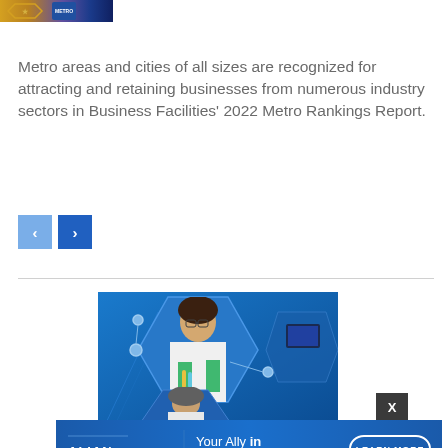[Figure (photo): Partial view of a Metro Rankings award badge/logo with gold and blue colors]
Metro areas and cities of all sizes are recognized for attracting and retaining businesses from numerous industry sectors in Business Facilities' 2022 Metro Rankings Report.
[Figure (other): Navigation buttons: left arrow (light blue) and right arrow (dark blue)]
[Figure (photo): Advertisement featuring a woman in a lab coat and glasses working in a laboratory, set against a blue hexagonal geometric background design]
[Figure (other): X close button (dark gray square with white X)]
[Figure (other): Alliance banner advertisement: ALLIANCE logo with text 'Your Ally in Economic Development' and a 'LEARN MORE' button on blue gradient background]